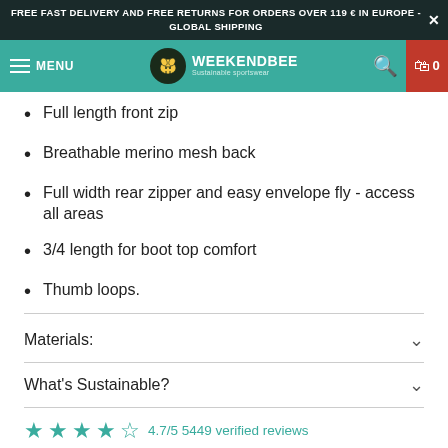FREE FAST DELIVERY AND FREE RETURNS FOR ORDERS OVER 119 € IN EUROPE - GLOBAL SHIPPING
[Figure (screenshot): WeekendBee navigation bar with menu, logo, search and cart icons]
Full length front zip
Breathable merino mesh back
Full width rear zipper and easy envelope fly - access all areas
3/4 length for boot top comfort
Thumb loops.
Materials:
What's Sustainable?
4.7/5 5449 verified reviews
FREE DELIVERY AND RETURNS IN EU FOR ALL ORDERS OVER 119 €